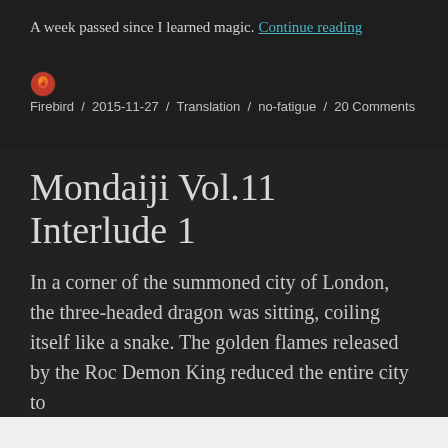A week passed since I learned magic.
Continue reading
Firebird / 2015-11-27 / Translation / no-fatigue / 20 Comments
Mondaiji Vol.11 Interlude 1
In a corner of the summoned city of London, the three-headed dragon was sitting, coiling itself like a snake. The golden flames released by the Roc Demon King reduced the entire city to